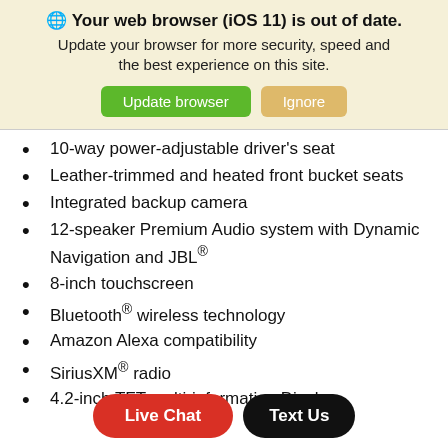🌐 Your web browser (iOS 11) is out of date. Update your browser for more security, speed and the best experience on this site.
[Figure (screenshot): Two buttons: 'Update browser' (green) and 'Ignore' (tan/gold)]
10-way power-adjustable driver's seat
Leather-trimmed and heated front bucket seats
Integrated backup camera
12-speaker Premium Audio system with Dynamic Navigation and JBL®
8-inch touchscreen
Bluetooth® wireless technology
Amazon Alexa compatibility
SiriusXM® radio
4.2-inch TFT multi-information Display
[Figure (screenshot): Two overlay buttons at bottom: 'Live Chat' (red pill) and 'Text Us' (black pill)]